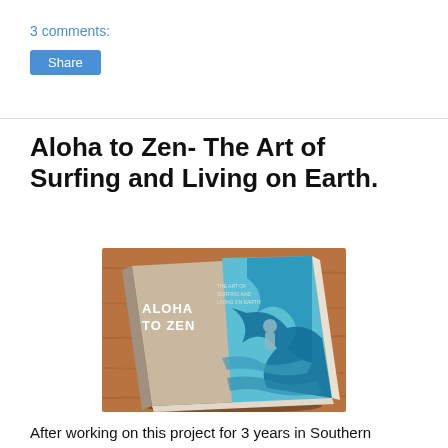3 comments:
Share
Aloha to Zen- The Art of Surfing and Living on Earth.
[Figure (photo): A book titled 'Aloha to Zen' resting on a wooden surface. The book cover features blue and brown surfing artwork with a surfer riding a wave.]
After working on this project for 3 years in Southern